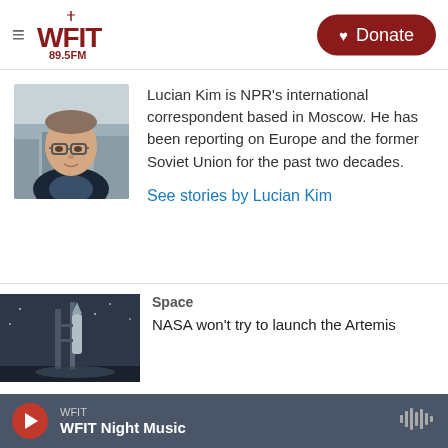WFIT 89.5FM | Donate
[Figure (photo): Headshot of Lucian Kim, a man wearing glasses, in a dark blazer, against a blurred city background]
Lucian Kim is NPR's international correspondent based in Moscow. He has been reporting on Europe and the former Soviet Union for the past two decades.
See stories by Lucian Kim
Space
NASA won't try to launch the Artemis
[Figure (photo): Photo of a rocket on a launch pad at dusk or nighttime]
WFIT | WFIT Night Music